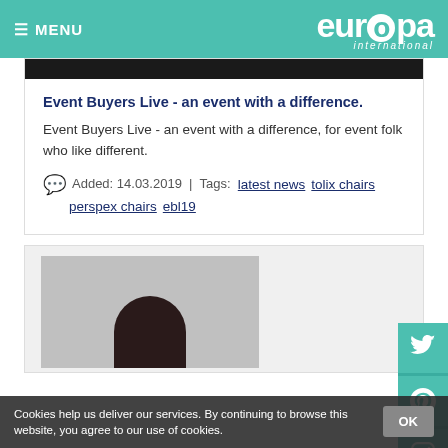≡ MENU  europa international
[Figure (photo): Dark banner image at top of article card]
Event Buyers Live - an event with a difference.
Event Buyers Live - an event with a difference, for event folk who like different.
Added: 14.03.2019  | Tags: latest news  tolix chairs  perspex chairs  ebl19
[Figure (photo): Photo of a dark-haired woman against a grey background, partially visible]